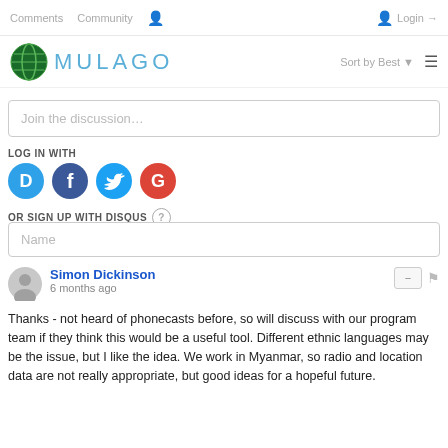Comments  Community  Login  Sort by Best
[Figure (logo): Mulago Foundation logo with globe icon and MULAGO text]
Join the discussion…
LOG IN WITH
[Figure (infographic): Social login icons: Disqus (D), Facebook (f), Twitter bird, Google (G)]
OR SIGN UP WITH DISQUS
Name
Simon Dickinson
6 months ago
Thanks - not heard of phonecasts before, so will discuss with our program team if they think this would be a useful tool. Different ethnic languages may be the issue, but I like the idea. We work in Myanmar, so radio and location data are not really appropriate, but good ideas for a hopeful future.